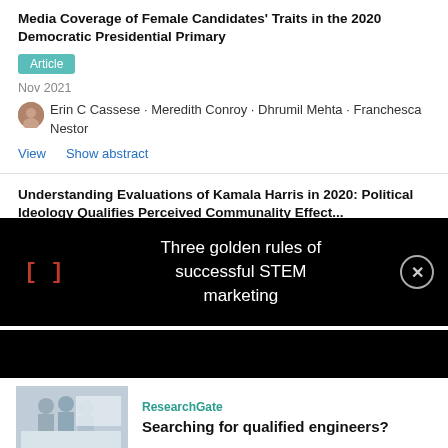Media Coverage of Female Candidates' Traits in the 2020 Democratic Presidential Primary
Article
Nov 2021
Erin C Cassese · Meredith Conroy · Dhrumil Mehta · Franchesca Nestor
View   Show abstract
Understanding Evaluations of Kamala Harris in 2020: Political Ideology Qualifies Perceived Communality Effect...
[Figure (other): Overlay advertisement banner with red bracket symbol '[]', text 'Three golden rules of successful STEM marketing', and a close button (X)]
ResearchGate
Searching for qualified engineers?